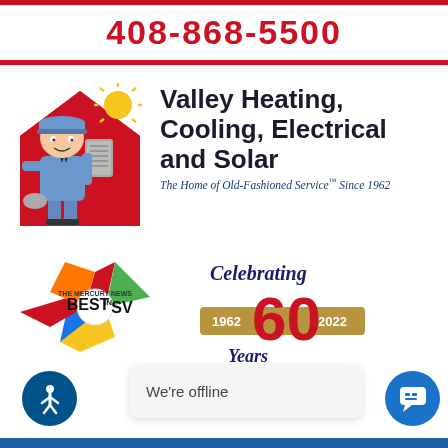408-868-5500
[Figure (logo): Valley Heating Cooling Electrical and Solar mascot logo: cartoon HVAC technician in blue uniform standing in front of red house with sun, holding equipment. LIC# 258540]
Valley Heating, Cooling, Electrical and Solar
The Home of Old-Fashioned Service™ Since 1962
[Figure (logo): The Mercury News Best in SV award logo with colorful star graphic]
[Figure (logo): Celebrating 60 Years 1962-2022 badge with large red 60 and gold banner]
We're offline